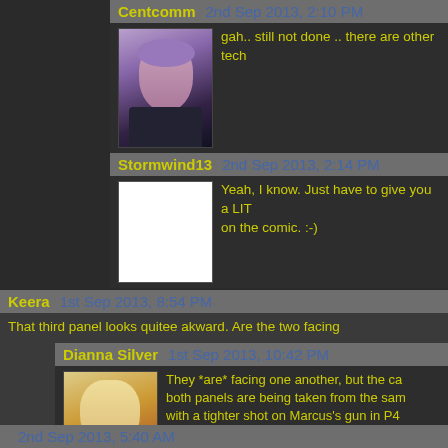Centcomm   2nd Sep 2013, 2:10 PM
gah.. still not done .. there are other tech
[Figure (photo): Avatar of Centcomm: illustrated female character with purple hair]
Stormwind13   2nd Sep 2013, 2:14 PM
Yeah, I know. Just have to give you a LIT on the comic. :-)
[Figure (photo): Blank white avatar placeholder for Stormwind13]
Keera   1st Sep 2013, 8:54 PM
That third panel looks quitee akward. Are the two facing
Dianna Silver   1st Sep 2013, 10:42 PM
They *are* facing one another, but the ca both panels are being taken from the sam with a tighter shot on Marcus's gun in P4 one side of the bar in P3 to the other side
[Figure (photo): Avatar of Dianna Silver: illustrated female character with blonde hair and pink dress]
Doesn't look awkward to me, and considering the f someone with reversed thumbs. One reason why opposed to drawing: It keeps things in proportion a
2nd Sep 2013, 5:40 AM